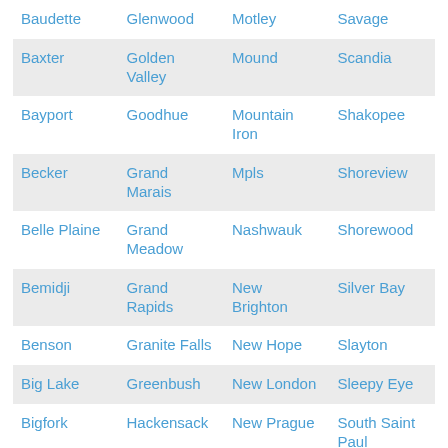| Baudette | Glenwood | Motley | Savage |
| Baxter | Golden Valley | Mound | Scandia |
| Bayport | Goodhue | Mountain Iron | Shakopee |
| Becker | Grand Marais | Mpls | Shoreview |
| Belle Plaine | Grand Meadow | Nashwauk | Shorewood |
| Bemidji | Grand Rapids | New Brighton | Silver Bay |
| Benson | Granite Falls | New Hope | Slayton |
| Big Lake | Greenbush | New London | Sleepy Eye |
| Bigfork | Hackensack | New Prague | South Saint Paul |